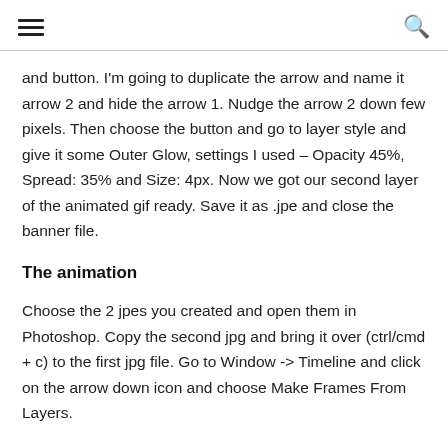≡  🔍
and button. I'm going to duplicate the arrow and name it arrow 2 and hide the arrow 1. Nudge the arrow 2 down few pixels. Then choose the button and go to layer style and give it some Outer Glow, settings I used – Opacity 45%, Spread: 35% and Size: 4px. Now we got our second layer of the animated gif ready. Save it as .jpe and close the banner file.
The animation
Choose the 2 jpes you created and open them in Photoshop. Copy the second jpg and bring it over (ctrl/cmd + c) to the first jpg file. Go to Window -> Timeline and click on the arrow down icon and choose Make Frames From Layers.